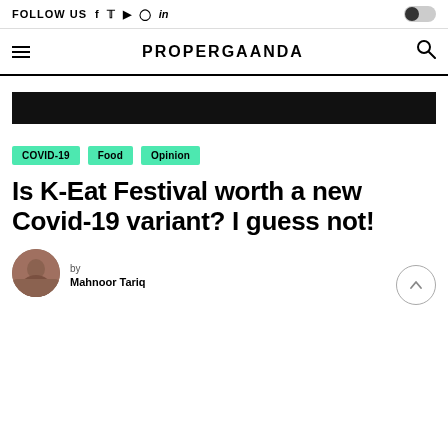FOLLOW US f t ▶ ○ in
PROPERGAANDA
[Figure (other): Black horizontal advertisement banner]
COVID-19
Food
Opinion
Is K-Eat Festival worth a new Covid-19 variant? I guess not!
by Mahnoor Tariq